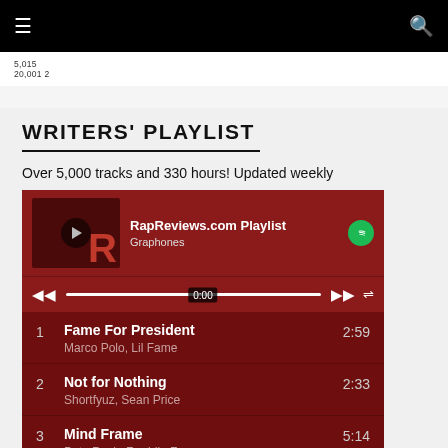≡  [search icon]
5,015
20,001 2
WRITERS' PLAYLIST
Over 5,000 tracks and 330 hours! Updated weekly
[Figure (screenshot): Spotify embedded playlist player showing RapReviews.com Playlist by Graphones, with track list: 1. Fame For President - Marco Polo, Lil Fame 2:59; 2. Not for Nothing - Shortfyuz, Sean Price 2:33; 3. Mind Frame - Pete Rock, Freddie Foxxx 5:14]
1  Fame For President  2:59
Marco Polo, Lil Fame
2  Not for Nothing  2:33
Shortfyuz, Sean Price
3  Mind Frame  5:14
Pete Rock, Freddie Foxxx